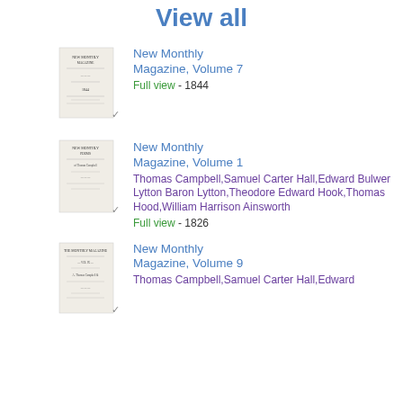View all
New Monthly Magazine, Volume 7
Full view - 1844
New Monthly Magazine, Volume 1
Thomas Campbell,Samuel Carter Hall,Edward Bulwer Lytton Baron Lytton,Theodore Edward Hook,Thomas Hood,William Harrison Ainsworth
Full view - 1826
New Monthly Magazine, Volume 9
Thomas Campbell,Samuel Carter Hall,Edward